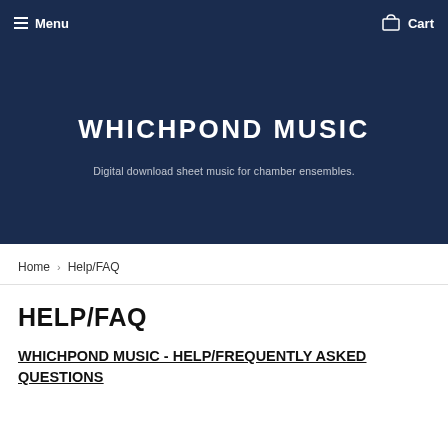Menu   Cart
WHICHPOND MUSIC
Digital download sheet music for chamber ensembles.
Home › Help/FAQ
HELP/FAQ
WHICHPOND MUSIC - HELP/FREQUENTLY ASKED QUESTIONS